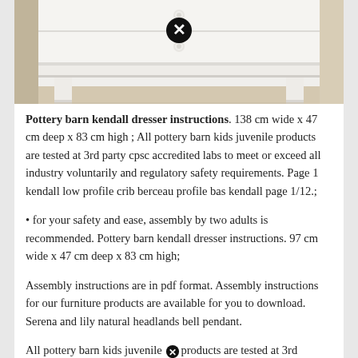[Figure (photo): Bottom portion of a white dresser/furniture piece with drawers, showing the base and legs, on a light wood floor background. A circular close/cancel icon overlay appears on the image.]
Pottery barn kendall dresser instructions. 138 cm wide x 47 cm deep x 83 cm high ; All pottery barn kids juvenile products are tested at 3rd party cpsc accredited labs to meet or exceed all industry voluntarily and regulatory safety requirements. Page 1 kendall low profile crib berceau profile bas kendall page 1/12.;
• for your safety and ease, assembly by two adults is recommended. Pottery barn kendall dresser instructions. 97 cm wide x 47 cm deep x 83 cm high;
Assembly instructions are in pdf format. Assembly instructions for our furniture products are available for you to download. Serena and lily natural headlands bell pendant.
All pottery barn kids juvenile products are tested at 3rd